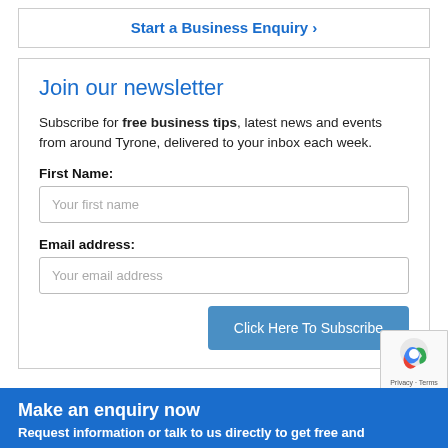Start a Business Enquiry ›
Join our newsletter
Subscribe for free business tips, latest news and events from around Tyrone, delivered to your inbox each week.
First Name:
Your first name
Email address:
Your email address
Click Here To Subscribe
Make an enquiry now
Request information or talk to us directly to get free and